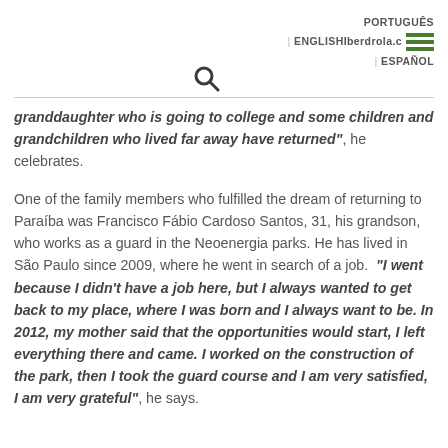PORTUGUÊS | ENGLISH | Iberdrola.com | ESPAÑOL
granddaughter who is going to college and some children and grandchildren who lived far away have returned", he celebrates.
One of the family members who fulfilled the dream of returning to Paraíba was Francisco Fábio Cardoso Santos, 31, his grandson, who works as a guard in the Neoenergia parks. He has lived in São Paulo since 2009, where he went in search of a job. "I went because I didn't have a job here, but I always wanted to get back to my place, where I was born and I always want to be. In 2012, my mother said that the opportunities would start, I left everything there and came. I worked on the construction of the park, then I took the guard course and I am very satisfied, I am very grateful", he says.